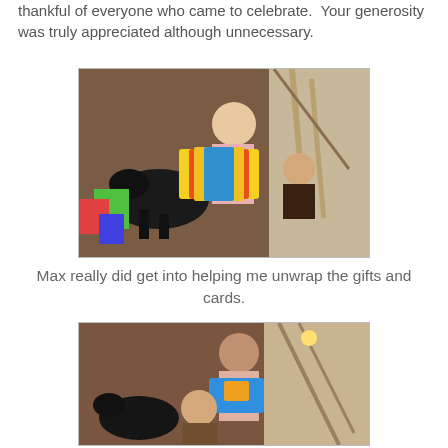thankful of everyone who came to celebrate.  Your generosity was truly appreciated although unnecessary.
[Figure (photo): Woman holding colorful wrapped gifts with a black dog and a toddler in a home interior with stairs]
Max really did get into helping me unwrap the gifts and cards.
[Figure (photo): Woman looking at a toy box with a toddler in front of her and a black dog, inside a home with stairs]